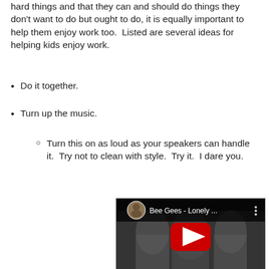hard things and that they can and should do things they don't want to do but ought to do, it is equally important to help them enjoy work too.  Listed are several ideas for helping kids enjoy work.
Do it together.
Turn up the music.
Turn this on as loud as your speakers can handle it.  Try not to clean with style.  Try it.  I dare you.
[Figure (screenshot): Embedded YouTube video thumbnail showing Bee Gees - Lonely ... with a red play button and three band members in grey outfits. A circular profile picture of one member is shown in the top left corner of the video player.]